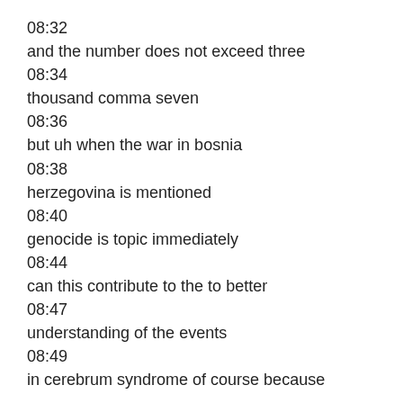08:32
and the number does not exceed three
08:34
thousand comma seven
08:36
but uh when the war in bosnia
08:38
herzegovina is mentioned
08:40
genocide is topic immediately
08:44
can this contribute to the to better
08:47
understanding of the events
08:49
in cerebrum syndrome of course because